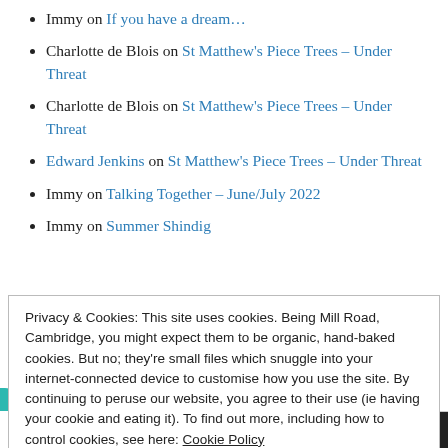Immy on If you have a dream…
Charlotte de Blois on St Matthew's Piece Trees – Under Threat
Charlotte de Blois on St Matthew's Piece Trees – Under Threat
Edward Jenkins on St Matthew's Piece Trees – Under Threat
Immy on Talking Together – June/July 2022
Immy on Summer Shindig
Privacy & Cookies: This site uses cookies. Being Mill Road, Cambridge, you might expect them to be organic, hand-baked cookies. But no; they're small files which snuggle into your internet-connected device to customise how you use the site. By continuing to peruse our website, you agree to their use (ie having your cookie and eating it). To find out more, including how to control cookies, see here: Cookie Policy
Accept (munch-munch)